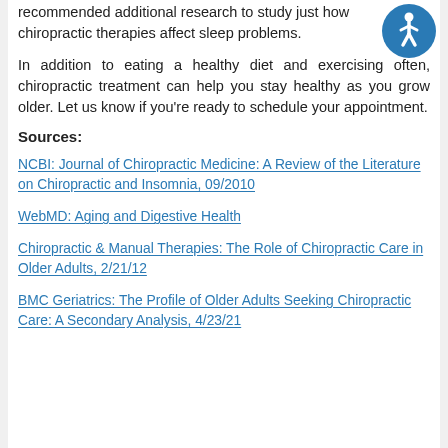recommended additional research to study just how chiropractic therapies affect sleep problems.
In addition to eating a healthy diet and exercising often, chiropractic treatment can help you stay healthy as you grow older. Let us know if you’re ready to schedule your appointment.
Sources:
NCBI: Journal of Chiropractic Medicine: A Review of the Literature on Chiropractic and Insomnia, 09/2010
WebMD: Aging and Digestive Health
Chiropractic & Manual Therapies: The Role of Chiropractic Care in Older Adults, 2/21/12
BMC Geriatrics: The Profile of Older Adults Seeking Chiropractic Care: A Secondary Analysis, 4/23/21